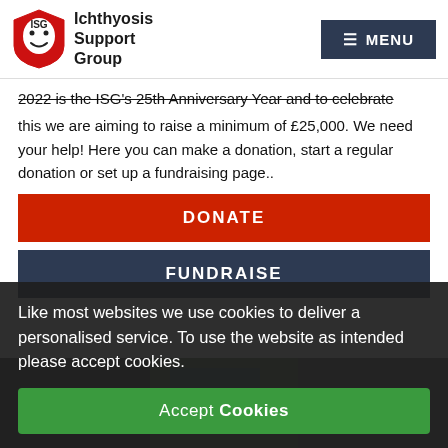Ichthyosis Support Group — MENU
2022 is the ISG's 25th Anniversary Year and to celebrate this we are aiming to raise a minimum of £25,000. We need your help! Here you can make a donation, start a regular donation or set up a fundraising page..
DONATE
FUNDRAISE
Like most websites we use cookies to deliver a personalised service. To use the website as intended please accept cookies.
Accept Cookies
[Figure (photo): Photo strip at bottom showing ISG materials and merchandise including boxes and printed items]